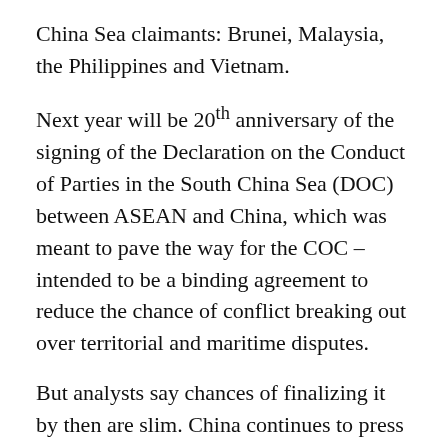China Sea claimants: Brunei, Malaysia, the Philippines and Vietnam.
Next year will be 20th anniversary of the signing of the Declaration on the Conduct of Parties in the South China Sea (DOC) between ASEAN and China, which was meant to pave the way for the COC – intended to be a binding agreement to reduce the chance of conflict breaking out over territorial and maritime disputes.
But analysts say chances of finalizing it by then are slim. China continues to press its sweeping claims, despite a 2016 Permanent Court of Arbitration award in a case brought by the Philippines which